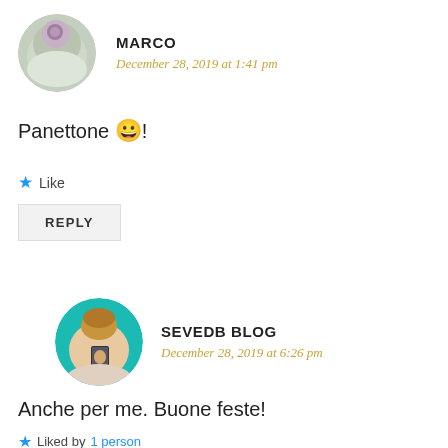[Figure (photo): Circular avatar photo of Marco - flower/plant image]
MARCO
December 28, 2019 at 1:41 pm
Panettone 😀!
★ Like
REPLY
[Figure (photo): Circular avatar photo of Sevedb Blog - person with phone]
SEVEDB BLOG
December 28, 2019 at 6:26 pm
Anche per me. Buone feste!
★ Liked by 1 person